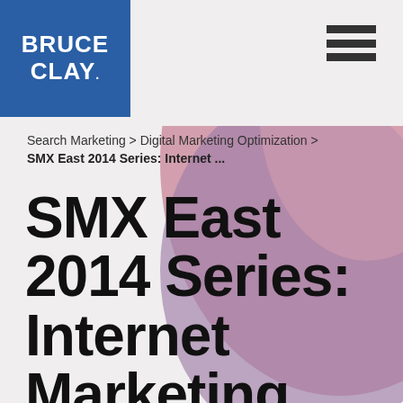[Figure (logo): Bruce Clay logo — white bold text on blue background reading BRUCE CLAY with a registered trademark symbol]
☰ (hamburger menu icon)
Search Marketing > Digital Marketing Optimization >
SMX East 2014 Series: Internet ...
SMX East 2014 Series: Internet Marketing Lessons in the Kitchen &